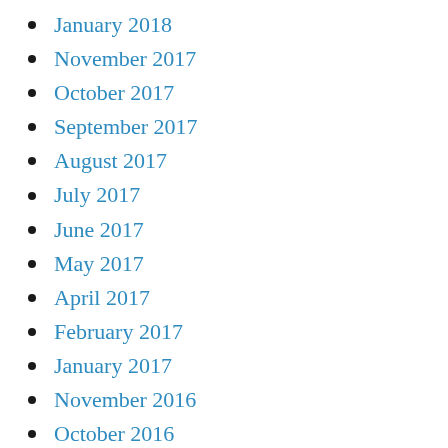January 2018
November 2017
October 2017
September 2017
August 2017
July 2017
June 2017
May 2017
April 2017
February 2017
January 2017
November 2016
October 2016
September 2016
August 2016
June 2016